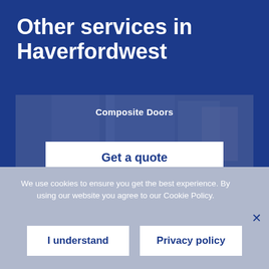Other services in Haverfordwest
[Figure (photo): Composite Doors service card with door photo background and 'Get a quote' button]
We use cookies to ensure you get the best experience. By using our website you agree to our Cookie Policy.
I understand
Privacy policy